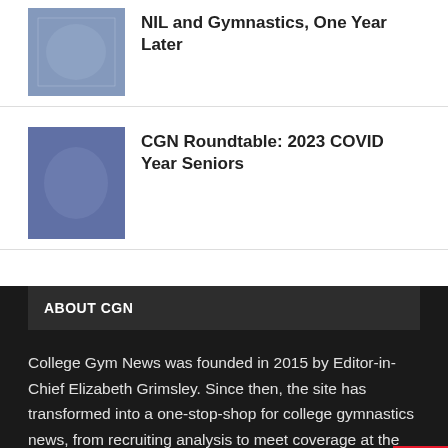NIL and Gymnastics, One Year Later
CGN Roundtable: 2023 COVID Year Seniors
ABOUT CGN
College Gym News was founded in 2015 by Editor-in-Chief Elizabeth Grimsley. Since then, the site has transformed into a one-stop-shop for college gymnastics news, from recruiting analysis to meet coverage at the NCAA national championships thanks to the hard work of 15-plus